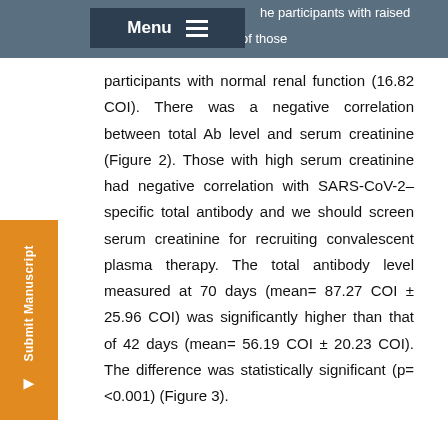the participants with raised serum creatinine was half of those
participants with normal renal function (16.82 COI). There was a negative correlation between total Ab level and serum creatinine (Figure 2). Those with high serum creatinine had negative correlation with SARS-CoV-2–specific total antibody and we should screen serum creatinine for recruiting convalescent plasma therapy. The total antibody level measured at 70 days (mean= 87.27 COI ± 25.96 COI) was significantly higher than that of 42 days (mean= 56.19 COI ± 20.23 COI). The difference was statistically significant (p=<0.001) (Figure 3).